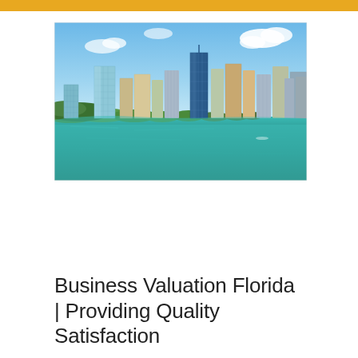[Figure (photo): Aerial photograph of Miami, Florida skyline with tall skyscrapers and waterfront, blue sky with clouds, turquoise water in the foreground]
Business Valuation Florida | Providing Quality Satisfaction